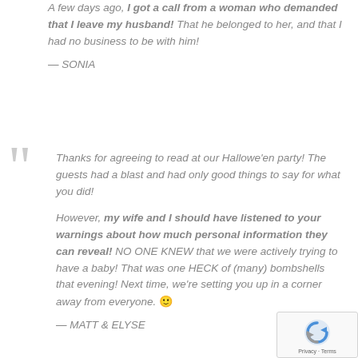A few days ago, I got a call from a woman who demanded that I leave my husband! That he belonged to her, and that I had no business to be with him!
— SONIA
Thanks for agreeing to read at our Hallowe'en party! The guests had a blast and had only good things to say for what you did!
However, my wife and I should have listened to your warnings about how much personal information they can reveal! NO ONE KNEW that we were actively trying to have a baby! That was one HECK of (many) bombshells that evening! Next time, we're setting you up in a corner away from everyone. 🙂
— MATT & ELYSE